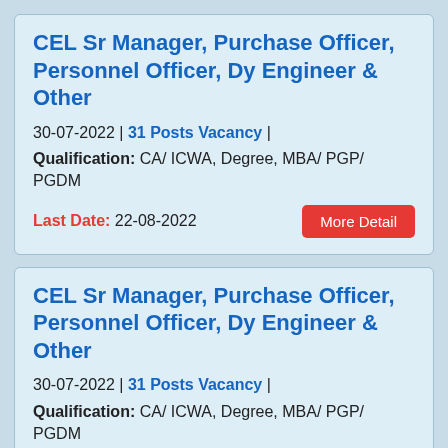CEL Sr Manager, Purchase Officer, Personnel Officer, Dy Engineer & Other
30-07-2022 | 31 Posts Vacancy |
Qualification: CA/ ICWA, Degree, MBA/ PGP/ PGDM
Last Date: 22-08-2022
CEL Sr Manager, Purchase Officer, Personnel Officer, Dy Engineer & Other
30-07-2022 | 31 Posts Vacancy |
Qualification: CA/ ICWA, Degree, MBA/ PGP/ PGDM